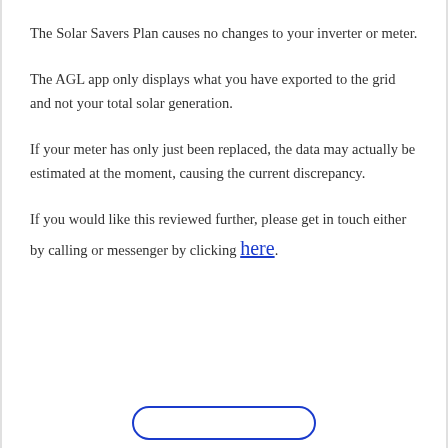The Solar Savers Plan causes no changes to your inverter or meter.
The AGL app only displays what you have exported to the grid and not your total solar generation.
If your meter has only just been replaced, the data may actually be estimated at the moment, causing the current discrepancy.
If you would like this reviewed further, please get in touch either by calling or messenger by clicking here.